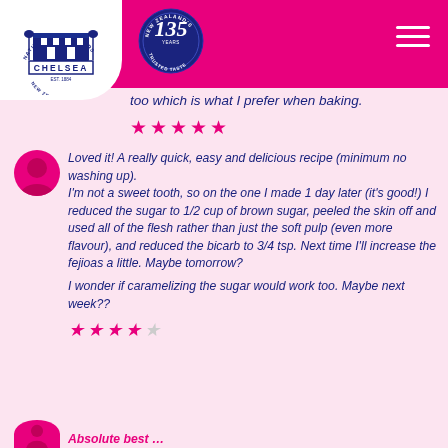[Figure (logo): Chelsea Sugar logo with building illustration, blue text on white background]
[Figure (logo): New Zealand's 135 Years Trusted Taste circular badge]
too which is what I prefer when baking.
★★★★★
Loved it! A really quick, easy and delicious recipe (minimum no washing up). I'm not a sweet tooth, so on the one I made 1 day later (it's good!) I reduced the sugar to 1/2 cup of brown sugar, peeled the skin off and used all of the flesh rather than just the soft pulp (even more flavour), and reduced the bicarb to 3/4 tsp. Next time I'll increase the fejioas a little. Maybe tomorrow?

I wonder if caramelizing the sugar would work too. Maybe next week??
★★★★☆
Absolute best …